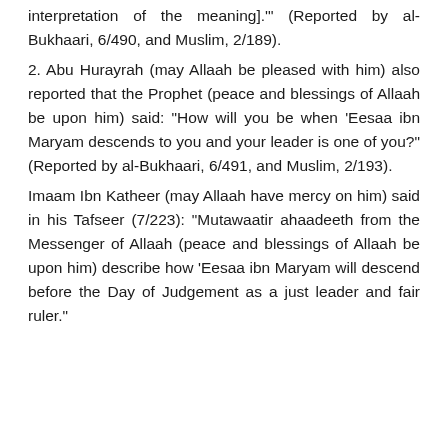interpretation of the meaning].'" (Reported by al-Bukhaari, 6/490, and Muslim, 2/189).
2. Abu Hurayrah (may Allaah be pleased with him) also reported that the Prophet (peace and blessings of Allaah be upon him) said: "How will you be when 'Eesaa ibn Maryam descends to you and your leader is one of you?" (Reported by al-Bukhaari, 6/491, and Muslim, 2/193).
Imaam Ibn Katheer (may Allaah have mercy on him) said in his Tafseer (7/223): "Mutawaatir ahaadeeth from the Messenger of Allaah (peace and blessings of Allaah be upon him) describe how 'Eesaa ibn Maryam will descend before the Day of Judgement as a just leader and fair ruler."